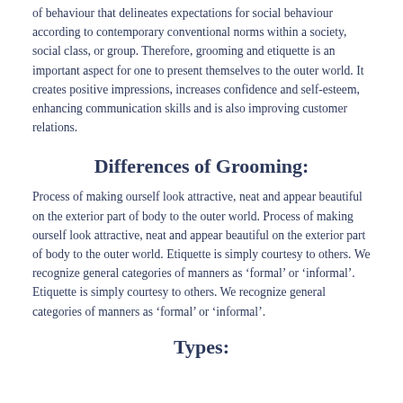of behaviour that delineates expectations for social behaviour according to contemporary conventional norms within a society, social class, or group. Therefore, grooming and etiquette is an important aspect for one to present themselves to the outer world. It creates positive impressions, increases confidence and self-esteem, enhancing communication skills and is also improving customer relations.
Differences of Grooming:
Process of making ourself look attractive, neat and appear beautiful on the exterior part of body to the outer world. Process of making ourself look attractive, neat and appear beautiful on the exterior part of body to the outer world. Etiquette is simply courtesy to others. We recognize general categories of manners as ‘formal’ or ‘informal’. Etiquette is simply courtesy to others. We recognize general categories of manners as ‘formal’ or ‘informal’.
Types: